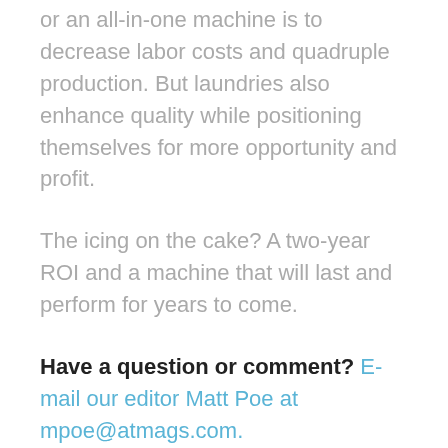or an all-in-one machine is to decrease labor costs and quadruple production. But laundries also enhance quality while positioning themselves for more opportunity and profit.
The icing on the cake? A two-year ROI and a machine that will last and perform for years to come.
Have a question or comment? E-mail our editor Matt Poe at mpoe@atmags.com.